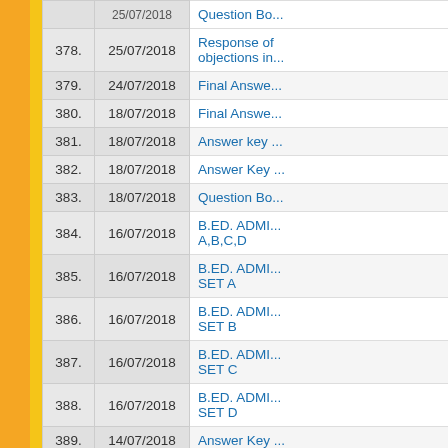| No. | Date | Title |
| --- | --- | --- |
| 377. | 25/07/2018 | Question Bo... |
| 378. | 25/07/2018 | Response of objections in... |
| 379. | 24/07/2018 | Final Answe... |
| 380. | 18/07/2018 | Final Answe... |
| 381. | 18/07/2018 | Answer key ... |
| 382. | 18/07/2018 | Answer Key ... |
| 383. | 18/07/2018 | Question Bo... |
| 384. | 16/07/2018 | B.ED. ADMI... A,B,C,D |
| 385. | 16/07/2018 | B.ED. ADMI... SET A |
| 386. | 16/07/2018 | B.ED. ADMI... SET B |
| 387. | 16/07/2018 | B.ED. ADMI... SET C |
| 388. | 16/07/2018 | B.ED. ADMI... SET D |
| 389. | 14/07/2018 | Answer Key ... |
| 390. | 14/07/2018 | Question Bo... |